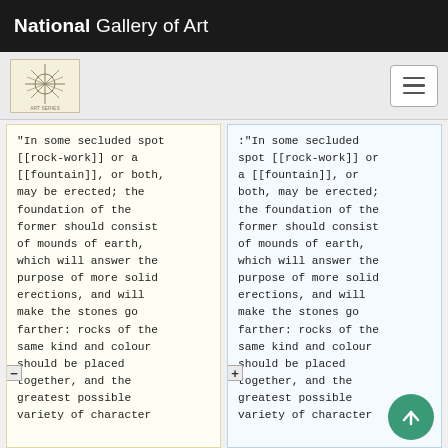National Gallery of Art
“In some secluded spot [[rock-work]] or a [[fountain]], or both, may be erected; the foundation of the former should consist of mounds of earth, which will answer the purpose of more solid erections, and will make the stones go farther: rocks of the same kind and colour should be placed together, and the greatest possible variety of character
:“In some secluded spot [[rock-work]] or a [[fountain]], or both, may be erected; the foundation of the former should consist of mounds of earth, which will answer the purpose of more solid erections, and will make the stones go farther: rocks of the same kind and colour should be placed together, and the greatest possible variety of character